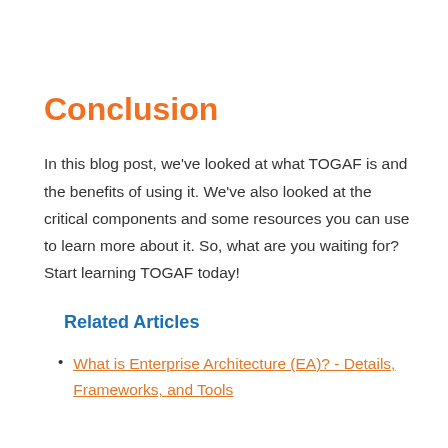Conclusion
In this blog post, we've looked at what TOGAF is and the benefits of using it. We've also looked at the critical components and some resources you can use to learn more about it. So, what are you waiting for? Start learning TOGAF today!
Related Articles
What is Enterprise Architecture (EA)? - Details, Frameworks, and Tools